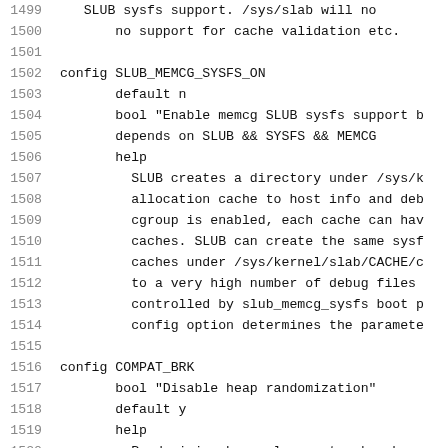1499    SLUB sysfs support. /sys/slab will no
1500        no support for cache validation etc.
1501
1502 config SLUB_MEMCG_SYSFS_ON
1503        default n
1504        bool "Enable memcg SLUB sysfs support b
1505        depends on SLUB && SYSFS && MEMCG
1506        help
1507          SLUB creates a directory under /sys/k
1508          allocation cache to host info and deb
1509          cgroup is enabled, each cache can hav
1510          caches. SLUB can create the same sysf
1511          caches under /sys/kernel/slab/CACHE/c
1512          to a very high number of debug files
1513          controlled by slub_memcg_sysfs boot p
1514          config option determines the paramete
1515
1516 config COMPAT_BRK
1517        bool "Disable heap randomization"
1518        default y
1519        help
1520          Randomizing heap placement makes heap